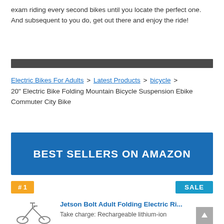exam riding every second bikes until you locate the perfect one. And subsequent to you do, get out there and enjoy the ride!
[Figure (other): Dark horizontal divider bar]
Electric Bikes For Adults > Latest Products > bicycle > 20" Electric Bike Folding Mountain Bicycle Suspension Ebike Commuter City Bike
[Figure (infographic): Blue banner with text BEST SELLERS ON AMAZON]
#1
SALE
Jetson Bolt Adult Folding Electric Ri...
Take charge: Rechargeable lithium-ion